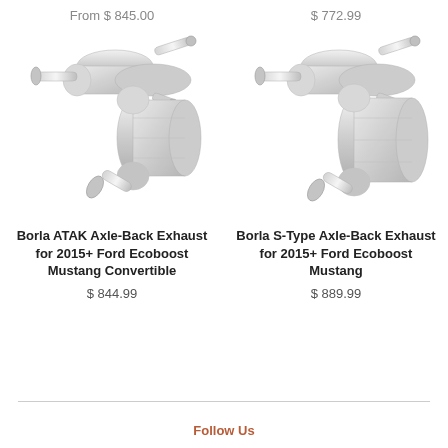From $ 845.00
$ 772.99
[Figure (photo): Borla ATAK Axle-Back Exhaust system product photo - stainless steel muffler components]
[Figure (photo): Borla S-Type Axle-Back Exhaust system product photo - stainless steel muffler components]
Borla ATAK Axle-Back Exhaust for 2015+ Ford Ecoboost Mustang Convertible
Borla S-Type Axle-Back Exhaust for 2015+ Ford Ecoboost Mustang
$ 844.99
$ 889.99